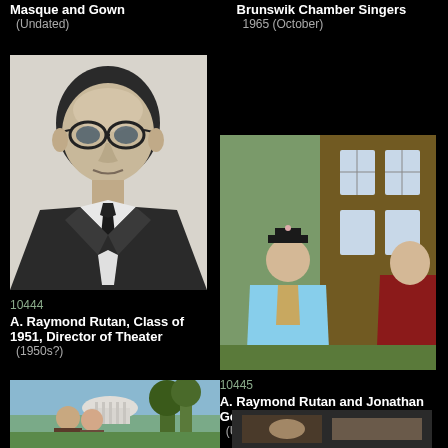Masque and Gown
(Undated)
Brunswik Chamber Singers
1965 (October)
[Figure (photo): Black and white portrait photo of A. Raymond Rutan, a man wearing glasses, a dark suit jacket, and a dark tie]
10444
A. Raymond Rutan, Class of 1951, Director of Theater
(1950s?)
[Figure (photo): Color photo of A. Raymond Rutan and Jonathan Goldstein in academic regalia outdoors in front of a brick building with ivy]
10445
A. Raymond Rutan and Jonathan Goldstein
(Undated)
[Figure (photo): Color outdoor photo of two people near trees with a domed building visible in background]
[Figure (photo): Partial color indoor photo visible at bottom right]